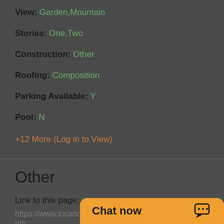View: Garden,Mountain
Stories: One,Two
Construction: Other
Roofing: Composition
Parking Available: Y
Pool: N
+12 More (Log in to View)
Other
Link to this page:
https://www.locationshawaii.com/buy/oahu/kaneohe/ahum area/47-478-ahuiman...
Listing courtesy: Jw R...